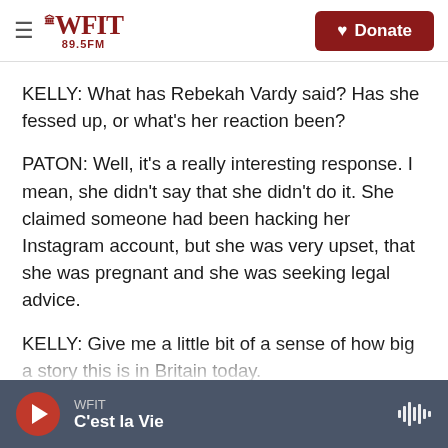WFIT 89.5FM | Donate
KELLY: What has Rebekah Vardy said? Has she fessed up, or what's her reaction been?
PATON: Well, it's a really interesting response. I mean, she didn't say that she didn't do it. She claimed someone had been hacking her Instagram account, but she was very upset, that she was pregnant and she was seeking legal advice.
KELLY: Give me a little bit of a sense of how big a story this is in Britain today.
PATON: It's the story that everybody needs right
WFIT | C'est la Vie